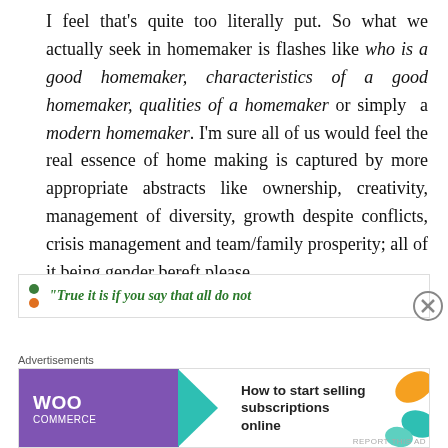I feel that's quite too literally put. So what we actually seek in homemaker is flashes like who is a good homemaker, characteristics of a good homemaker, qualities of a homemaker or simply a modern homemaker. I'm sure all of us would feel the real essence of home making is captured by more appropriate abstracts like ownership, creativity, management of diversity, growth despite conflicts, crisis management and team/family prosperity; all of it being gender bereft please.
[Figure (other): Advertisement banner: WooCommerce ad reading 'How to start selling subscriptions online' with purple background and teal arrow graphic. Preceded by a partially visible quote box with green italic text beginning '"True it is if you say that all do not'. Close button (X) visible at right.]